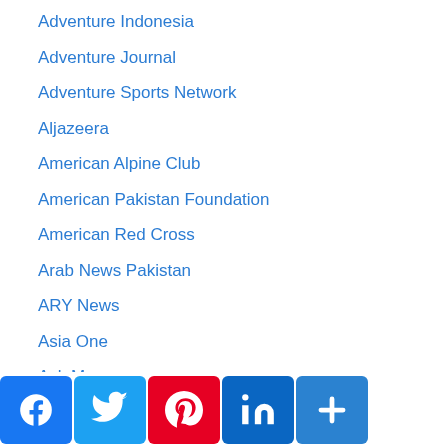Adventure Indonesia
Adventure Journal
Adventure Sports Network
Aljazeera
American Alpine Club
American Pakistan Foundation
American Red Cross
Arab News Pakistan
ARY News
Asia One
Ask Men
Associated Press
Associated Press of Pakistan
Blasting News
BollyInside
BOL News
Boston College Club
Business Resource
[Figure (other): Social media sharing buttons: Facebook, Twitter, Pinterest, LinkedIn, Share/Add]